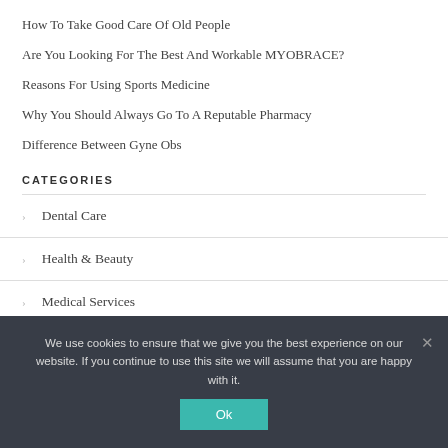How To Take Good Care Of Old People
Are You Looking For The Best And Workable MYOBRACE?
Reasons For Using Sports Medicine
Why You Should Always Go To A Reputable Pharmacy
Difference Between Gyne Obs
CATEGORIES
Dental Care
Health & Beauty
Medical Services
We use cookies to ensure that we give you the best experience on our website. If you continue to use this site we will assume that you are happy with it.